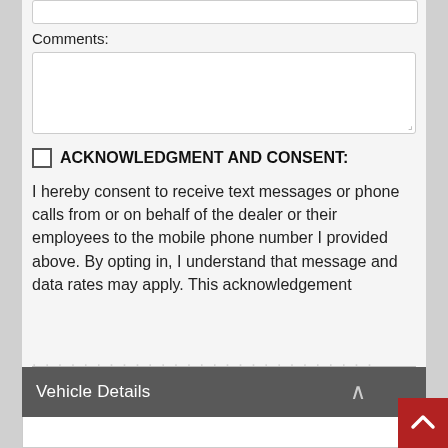Comments:
ACKNOWLEDGMENT AND CONSENT:
I hereby consent to receive text messages or phone calls from or on behalf of the dealer or their employees to the mobile phone number I provided above. By opting in, I understand that message and data rates may apply. This acknowledgement
Send Inquiry
Vehicle Details